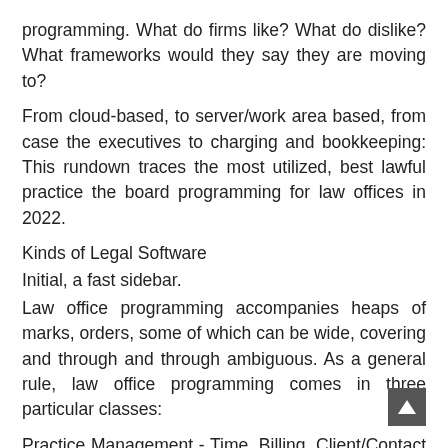programming. What do firms like? What do dislike? What frameworks would they say they are moving to?
From cloud-based, to server/work area based, from case the executives to charging and bookkeeping: This rundown traces the most utilized, best lawful practice the board programming for law offices in 2022.
Kinds of Legal Software
Initial, a fast sidebar.
Law office programming accompanies heaps of marks, orders, some of which can be wide, covering and through and through ambiguous. As a general rule, law office programming comes in three particular classes:
Practice Management - Time, Billing, Client/Contact Management, Calendaring, Docketing, Form Generation.
Archive Management - Document Storage, Email Management, Version Management, Index/Search, Tagging.